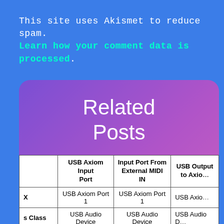This site uses Akismet to reduce spam. Learn how your comment data is processed.
Related Posts
|  | USB Axiom Input Port | Input Port From External MIDI IN | USB Output to Axiom |
| --- | --- | --- | --- |
| X | USB Axiom Port 1 | USB Axiom Port 1 | USB Axio… |
| s Class | USB Audio Device | USB Audio Device | USB Audio D… |
| s Multi-iver | USB Axiom In | USB Axiom In (2) | USB Axiom… |